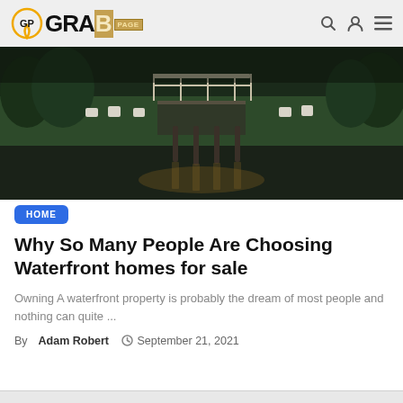GP GRABPAGE [navigation: search, user, menu icons]
[Figure (photo): Waterfront property at dusk showing a dock with white railings, lawn with white Adirondack chairs, wooden pilings in calm water reflecting warm lights, and trees in the background.]
HOME
Why So Many People Are Choosing Waterfront homes for sale
Owning A waterfront property is probably the dream of most people and nothing can quite ...
By Adam Robert  September 21, 2021